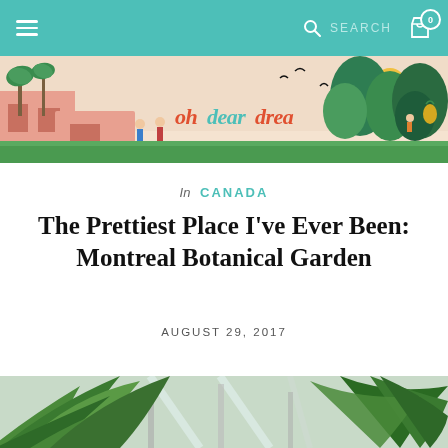Navigation bar with hamburger menu, search, and cart (0)
[Figure (illustration): ohdeardrea blog header banner illustration with tropical plants, palm trees, colorful characters, birds, and the handwritten logo 'ohdeardrea' on a warm peachy background]
In CANADA
The Prettiest Place I've Ever Been: Montreal Botanical Garden
AUGUST 29, 2017
[Figure (photo): Close-up photograph of green tropical palm fronds with a greenhouse structure visible in the background, lush green leaves on the right side]